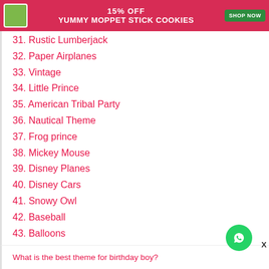[Figure (infographic): Red advertisement banner: 15% OFF YUMMY MOPPET STICK COOKIES with SHOP NOW button]
31. Rustic Lumberjack
32. Paper Airplanes
33. Vintage
34. Little Prince
35. American Tribal Party
36. Nautical Theme
37. Frog prince
38. Mickey Mouse
39. Disney Planes
40. Disney Cars
41. Snowy Owl
42. Baseball
43. Balloons
What is the best theme for birthday boy?